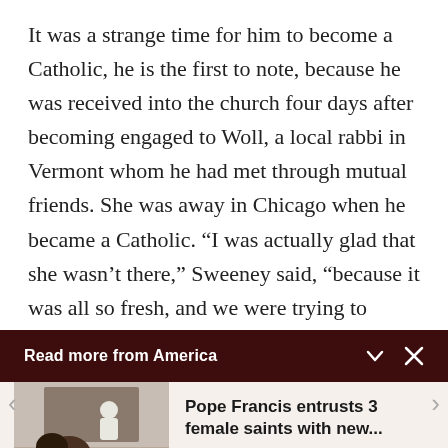It was a strange time for him to become a Catholic, he is the first to note, because he was received into the church four days after becoming engaged to Woll, a local rabbi in Vermont whom he had met through mutual friends. She was away in Chicago when he became a Catholic. “I was actually glad that she wasn’t there,” Sweeney said, “because it was all so fresh, and we were trying to figure out how
Read more from America
[Figure (photo): A photo showing Pope Francis seated and meeting with a small group of people, seen from behind.]
Pope Francis entrusts 3 female saints with new...
Cindy Wooden -
Catholic News Service